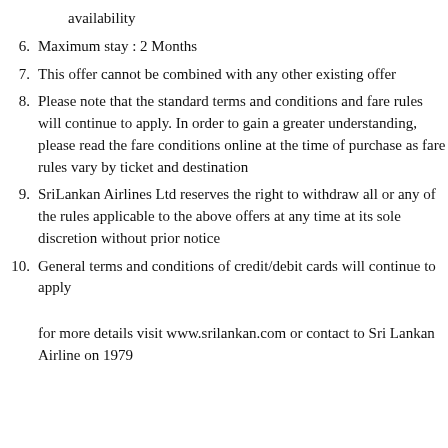availability
6. Maximum stay : 2 Months
7. This offer cannot be combined with any other existing offer
8. Please note that the standard terms and conditions and fare rules will continue to apply. In order to gain a greater understanding, please read the fare conditions online at the time of purchase as fare rules vary by ticket and destination
9. SriLankan Airlines Ltd reserves the right to withdraw all or any of the rules applicable to the above offers at any time at its sole discretion without prior notice
10. General terms and conditions of credit/debit cards will continue to apply
for more details visit www.srilankan.com or contact to Sri Lankan Airline on 1979